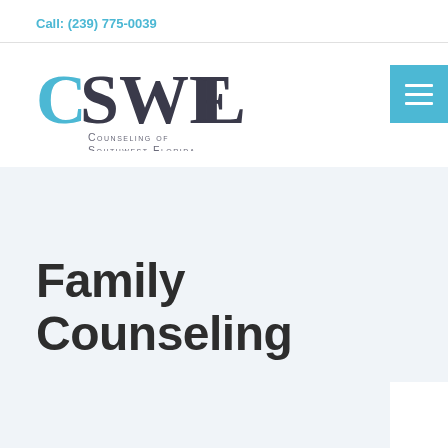Call: (239) 775-0039
[Figure (logo): CSWFL Counseling of Southwest Florida logo — large stylized letters CSWFL with a blue C arc, dark serif letters SWL, and tagline 'Counseling of Southwest Florida' in small caps below]
Family Counseling